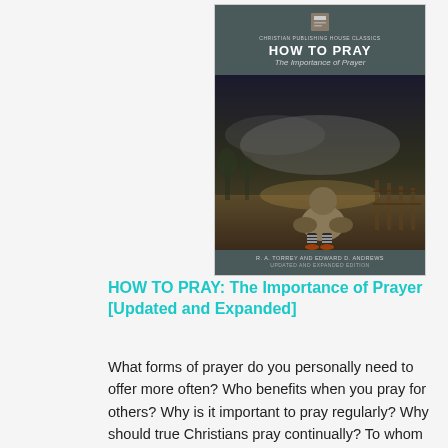[Figure (illustration): Book cover of 'HOW TO PRAY: The Importance of Prayer' by R. A. Torrey and Edward D. Andrews, Updated and Expanded Edition. Cover shows a child sitting outdoors in a field under a dramatic cloudy sky. Published by Christian Publishing House Classics.]
HOW TO PRAY: The Importance of Prayer [Updated and Expanded]
What forms of prayer do you personally need to offer more often? Who benefits when you pray for others? Why is it important to pray regularly? Why should true Christians pray continually? To whom should we pray, and how? What are proper subjects